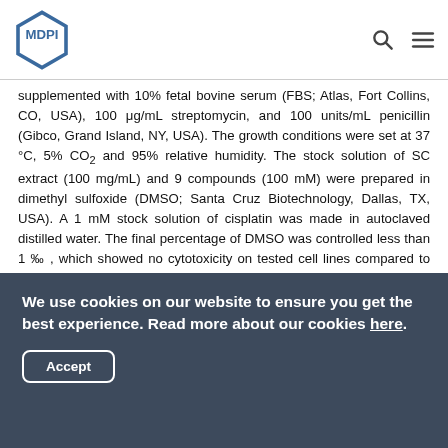MDPI
supplemented with 10% fetal bovine serum (FBS; Atlas, Fort Collins, CO, USA), 100 μg/mL streptomycin, and 100 units/mL penicillin (Gibco, Grand Island, NY, USA). The growth conditions were set at 37 °C, 5% CO2 and 95% relative humidity. The stock solution of SC extract (100 mg/mL) and 9 compounds (100 mM) were prepared in dimethyl sulfoxide (DMSO; Santa Cruz Biotechnology, Dallas, TX, USA). A 1 mM stock solution of cisplatin was made in autoclaved distilled water. The final percentage of DMSO was controlled less than 1 ‰ , which showed no cytotoxicity on tested cell lines compared to non-treated cells.
We use cookies on our website to ensure you get the best experience. Read more about our cookies here.